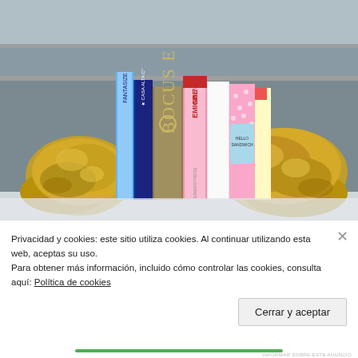[Figure (photo): Photograph of colorful books standing upright on a shelf, bookended by two gold-painted rock/stone bookends. Books visible include titles: BOCUSE, CASA ALTA, EMIGRE No.70, Hello Sandwich, and others. Background shows metal shelving.]
Privacidad y cookies: este sitio utiliza cookies. Al continuar utilizando esta web, aceptas su uso.
Para obtener más información, incluido cómo controlar las cookies, consulta aquí: Política de cookies
Cerrar y aceptar